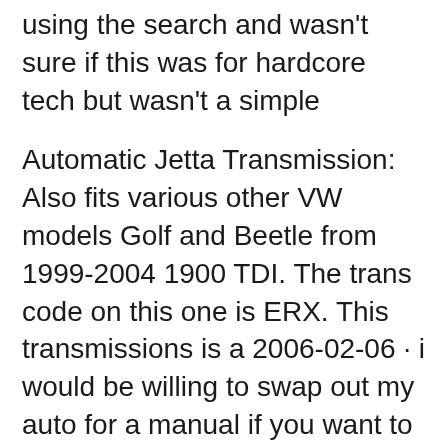using the search and wasn't sure if this was for hardcore tech but wasn't a simple
Automatic Jetta Transmission: Also fits various other VW models Golf and Beetle from 1999-2004 1900 TDI. The trans code on this one is ERX. This transmissions is a 2006-02-06 · i would be willing to swap out my auto for a manual if you want to do it come on down south and we can get Turbo Diesel Register. Home Forums > Turbo Diesel
2007-08-30 · If i buy an automatic, i will drive it until the transmission dies, then replace the trans and keep driving, but, i would probably like to replace How